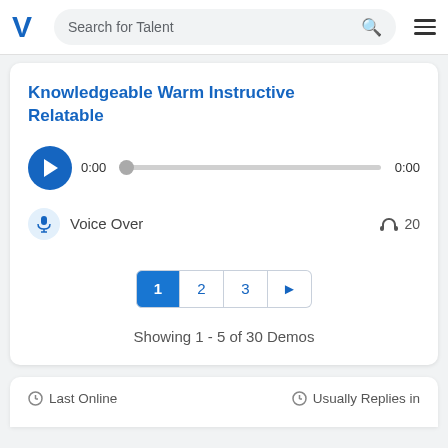Search for Talent
Knowledgeable Warm Instructive Relatable
0:00  0:00
Voice Over  20
1  2  3  ▶
Showing 1 - 5 of 30 Demos
Last Online  Usually Replies in